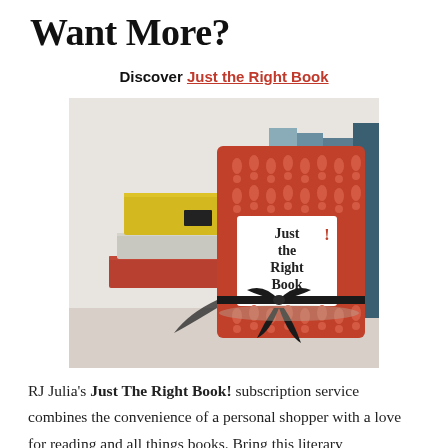Want More?
Discover Just the Right Book
[Figure (photo): Photo of a gift-wrapped book titled 'Just the Right Book' with a red exclamation-point pattern cover and black ribbon bow, surrounded by stacked colorful books in the background.]
RJ Julia's Just The Right Book! subscription service combines the convenience of a personal shopper with a love for reading and all things books. Bring this literary